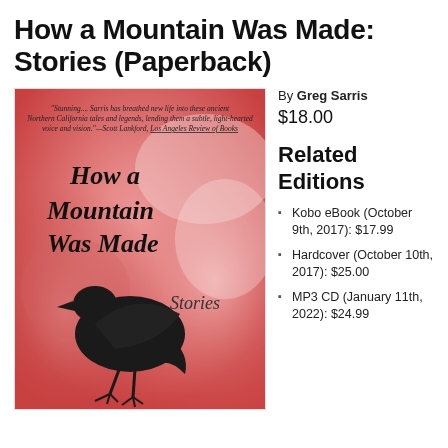How a Mountain Was Made: Stories (Paperback)
[Figure (photo): Book cover of 'How a Mountain Was Made: Stories' by Greg Sarris. Red/pink watercolor background with a black silhouette of a raven/crow. Text reads: 'How a Mountain Was Made Stories'. A quote from Scott Lankford, Los Angeles Review of Books reads: 'Stunning.... Sarris has breathed new life into these ancient Northern California tales and legends, lending them a subtle, light-hearted voice and vision.']
By Greg Sarris
$18.00
Related Editions
Kobo eBook (October 9th, 2017): $17.99
Hardcover (October 10th, 2017): $25.00
MP3 CD (January 11th, 2022): $24.99